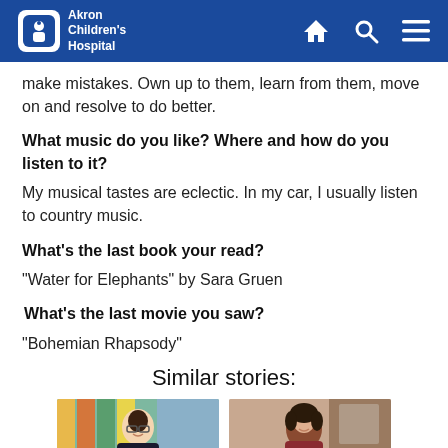Akron Children's Hospital
make mistakes. Own up to them, learn from them, move on and resolve to do better.
What music do you like? Where and how do you listen to it?
My musical tastes are eclectic. In my car, I usually listen to country music.
What's the last book your read?
“Water for Elephants” by Sara Gruen
What’s the last movie you saw?
“Bohemian Rhapsody”
Similar stories:
[Figure (photo): Photo of a woman with glasses smiling, colorful background]
[Figure (photo): Photo of a woman with curly hair smiling in an indoor setting]